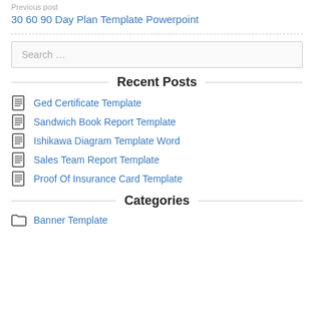Previous post
30 60 90 Day Plan Template Powerpoint
Search …
Recent Posts
Ged Certificate Template
Sandwich Book Report Template
Ishikawa Diagram Template Word
Sales Team Report Template
Proof Of Insurance Card Template
Categories
Banner Template